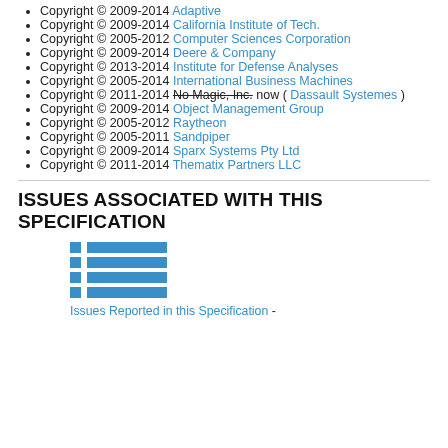Copyright © 2009-2014 Adaptive
Copyright © 2009-2014 California Institute of Tech.
Copyright © 2005-2012 Computer Sciences Corporation
Copyright © 2009-2014 Deere & Company
Copyright © 2013-2014 Institute for Defense Analyses
Copyright © 2005-2014 International Business Machines
Copyright © 2011-2014 No Magic, Inc. now ( Dassault Systemes )
Copyright © 2009-2014 Object Management Group
Copyright © 2005-2012 Raytheon
Copyright © 2005-2011 Sandpiper
Copyright © 2009-2014 Sparx Systems Pty Ltd
Copyright © 2011-2014 Thematix Partners LLC
ISSUES ASSOCIATED WITH THIS SPECIFICATION
[Figure (other): Icon showing a list/table with blue squares and horizontal bars, representing a list view.]
Issues Reported in this Specification -